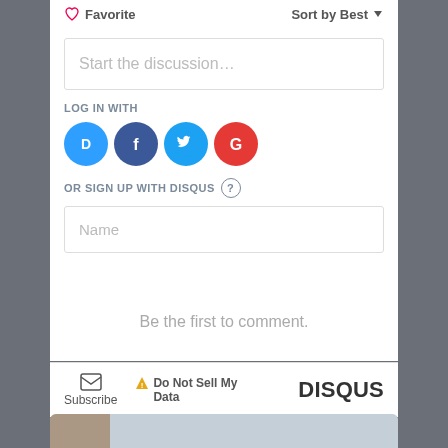Favorite
Sort by Best
Start the discussion…
LOG IN WITH
[Figure (logo): Social login icons: Disqus (blue), Facebook (dark blue), Twitter (light blue), Google (red)]
OR SIGN UP WITH DISQUS ?
Name
Be the first to comment.
Subscribe
Do Not Sell My Data
DISQUS
[Figure (photo): Partial image at bottom of page]